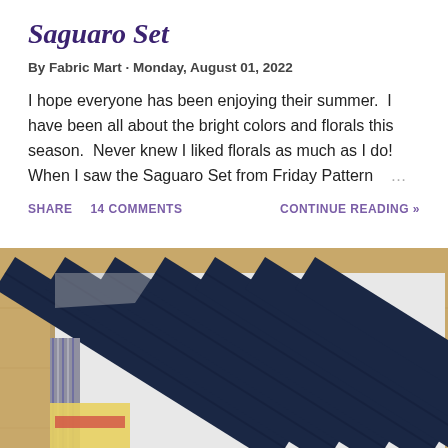Saguaro Set
By Fabric Mart · Monday, August 01, 2022
I hope everyone has been enjoying their summer.  I have been all about the bright colors and florals this season.  Never knew I liked florals as much as I do! When I saw the Saguaro Set from Friday Pattern …
SHARE   14 COMMENTS   CONTINUE READING »
[Figure (photo): Photo of folded navy blue and white striped fabric stacked on a wooden surface, with other patterned fabrics visible underneath]